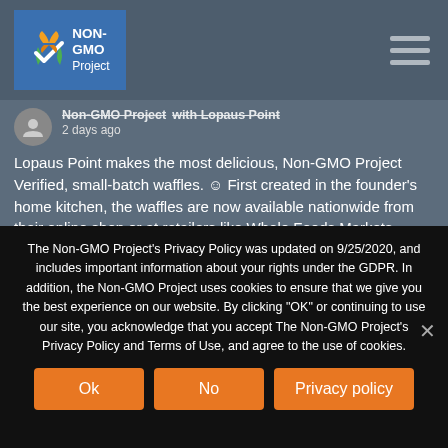Non-GMO Project | with Lopaus Point
2 days ago
Lopaus Point makes the most delicious, Non-GMO Project Verified, small-batch waffles. ☺ First created in the founder's home kitchen, the waffles are now available nationwide from their online shop or at retailers like Whole Foods Markets, Fresh Thyme Stores, Mom's Organic Markets and more!

Lopaus Point uses only the finest non-GMO ingredients to bring you
The Non-GMO Project’s Privacy Policy was updated on 9/25/2020, and includes important information about your rights under the GDPR. In addition, the Non-GMO Project uses cookies to ensure that we give you the best experience on our website. By clicking “OK” or continuing to use our site, you acknowledge that you accept The Non-GMO Project’s Privacy Policy and Terms of Use, and agree to the use of cookies.
Ok
No
Privacy policy